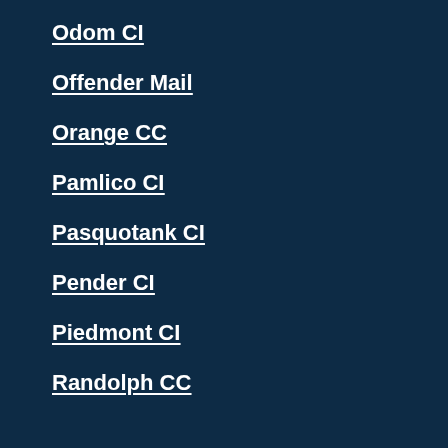Odom CI
Offender Mail
Orange CC
Pamlico CI
Pasquotank CI
Pender CI
Piedmont CI
Randolph CC